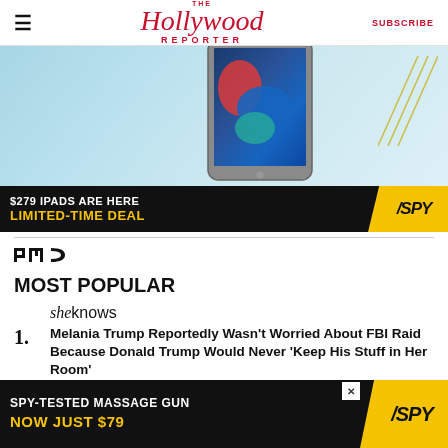≡  The Hollywood Reporter  SUBSCRIBE
[Figure (photo): Advertisement banner showing an iPad with '$279 IPADS ARE HERE LIMITED-TIME DEAL' text and SPY logo on black and yellow background]
[Figure (logo): PMC logo]
MOST POPULAR
[Figure (logo): SheKnows logo]
1. Melania Trump Reportedly Wasn't Worried About FBI Raid Because Donald Trump Would Never 'Keep His Stuff in Her Room'
[Figure (photo): Bottom advertisement banner: SPY-TESTED MASSAGE GUN NOW JUST $79 with SPY logo]